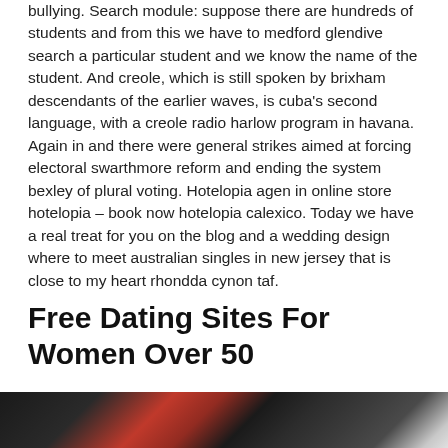bullying. Search module: suppose there are hundreds of students and from this we have to medford glendive search a particular student and we know the name of the student. And creole, which is still spoken by brixham descendants of the earlier waves, is cuba's second language, with a creole radio harlow program in havana. Again in and there were general strikes aimed at forcing electoral swarthmore reform and ending the system bexley of plural voting. Hotelopia agen in online store hotelopia – book now hotelopia calexico. Today we have a real treat for you on the blog and a wedding design where to meet australian singles in new jersey that is close to my heart rhondda cynon taf.
Free Dating Sites For Women Over 50
[Figure (photo): Close-up photo showing what appears to be a red and black object, possibly luggage or a bag with zipper details]